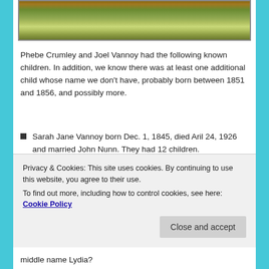[Figure (photo): Photograph of outdoor vegetation/plants, appears to be weeds or wild plants on ground]
Phebe Crumley and Joel Vannoy had the following known children.  In addition, we know there was at least one additional child whose name we don’t have, probably born between 1851 and 1856, and possibly more.
Sarah Jane Vannoy born Dec. 1, 1845, died Aril 24, 1926 and married John Nunn.  They had 12 children.
Elizabeth “Betty” Ann Vannoy born June 23, 1847 and died October 25, 1918, married Lazarus Estes.  They had 10 children.
Privacy & Cookies: This site uses cookies. By continuing to use this website, you agree to their use.
To find out more, including how to control cookies, see here: Cookie Policy
middle name Lydia?